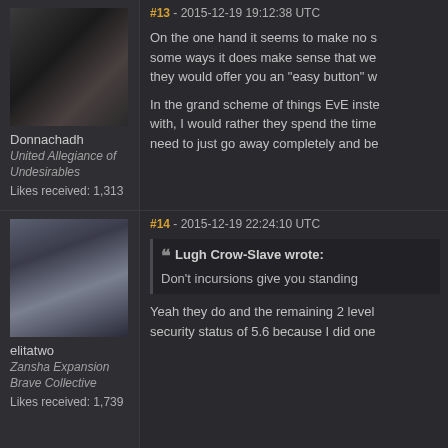#13 - 2015-12-19 19:12:38 UTC
[Figure (photo): Forum avatar of user Donnachadh - male character portrait from EVE Online, dark background]
Donnachadh
United Allegiance of Undesirables
Likes received: 1,313
On the one hand it seems to make no s... some ways it does make sense that we... they would offer you an "easy button" w...
In the grand scheme of things EvE inste... with, I would rather they spend the time... need to just go away completely and be...
#14 - 2015-12-19 22:24:10 UTC
[Figure (photo): Forum avatar of user elitatwo - female character portrait from EVE Online, light hair, blue outfit]
elitatwo
Zansha Expansion Brave Collective
Likes received: 1,739
Lugh Crow-Slave wrote: Don't incursions give you standing...
Yeah they do and the remaining 2 level... security status of 5.6 because I did one...